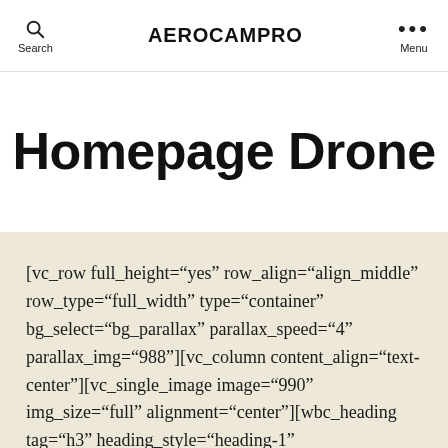AEROCAMPRO
Homepage Drone
[vc_row full_height="yes" row_align="align_middle" row_type="full_width" type="container" bg_select="bg_parallax" parallax_speed="4" parallax_img="988"][vc_column content_align="text-center"][vc_single_image image="990" img_size="full" alignment="center"][wbc_heading tag="h3" heading_style="heading-1" sm_font_size="15" title="QUADROCOPTER VIDEO FOOTAGE" font_size="30.5" color="#ffffff" m_bottom="0"